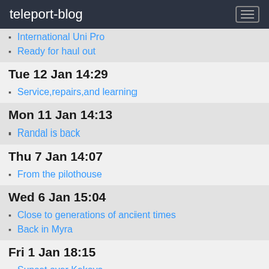teleport-blog
International Uni Pro
Ready for haul out
Tue 12 Jan 14:29
Service,repairs,and learning
Mon 11 Jan 14:13
Randal is back
Thu 7 Jan 14:07
From the pilothouse
Wed 6 Jan 15:04
Close to generations of ancient times
Back in Myra
Fri 1 Jan 18:15
Sunset over Kekova
On the top
View over Kale Köy
The castle -finally